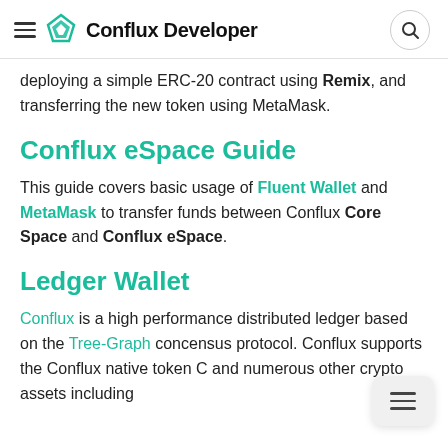Conflux Developer
deploying a simple ERC-20 contract using Remix, and transferring the new token using MetaMask.
Conflux eSpace Guide
This guide covers basic usage of Fluent Wallet and MetaMask to transfer funds between Conflux Core Space and Conflux eSpace.
Ledger Wallet
Conflux is a high performance distributed ledger based on the Tree-Graph concensus protocol. Conflux supports the Conflux native token C and numerous other crypto assets including